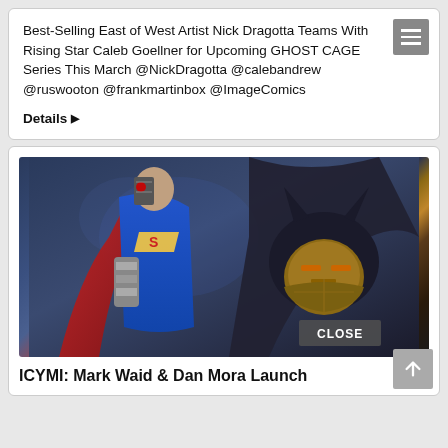Best-Selling East of West Artist Nick Dragotta Teams With Rising Star Caleb Goellner for Upcoming GHOST CAGE Series This March @NickDragotta @calebandrew @ruswooton @frankmartinbox @ImageComics
Details ▶
[Figure (illustration): Comic book artwork showing a cyborg Superman and Batman facing off, with dramatic lighting and action poses. A 'CLOSE' button overlay appears at lower right.]
ICYMI: Mark Waid & Dan Mora Launch